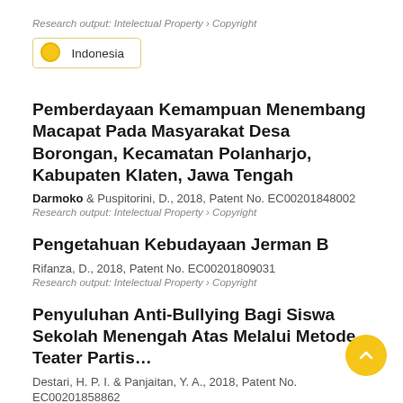Research output: Intelectual Property › Copyright
Indonesia
Pemberdayaan Kemampuan Menembang Macapat Pada Masyarakat Desa Borongan, Kecamatan Polanharjo, Kabupaten Klaten, Jawa Tengah
Darmoko & Puspitorini, D., 2018, Patent No. EC00201848002
Research output: Intelectual Property › Copyright
Pengetahuan Kebudayaan Jerman B
Rifanza, D., 2018, Patent No. EC00201809031
Research output: Intelectual Property › Copyright
Penyuluhan Anti-Bullying Bagi Siswa Sekolah Menengah Atas Melalui Metode Teater Partis…
Destari, H. P. I. & Panjaitan, Y. A., 2018, Patent No.
EC00201858862